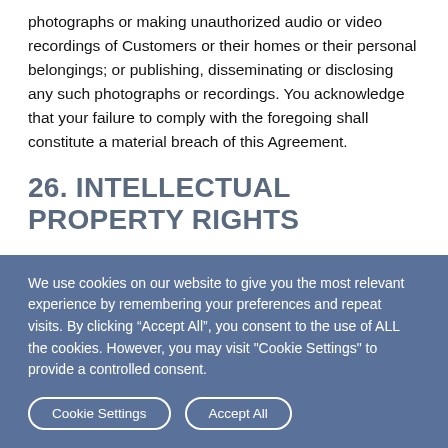photographs or making unauthorized audio or video recordings of Customers or their homes or their personal belongings; or publishing, disseminating or disclosing any such photographs or recordings. You acknowledge that your failure to comply with the foregoing shall constitute a material breach of this Agreement.
26. INTELLECTUAL PROPERTY RIGHTS
We use cookies on our website to give you the most relevant experience by remembering your preferences and repeat visits. By clicking “Accept All”, you consent to the use of ALL the cookies. However, you may visit "Cookie Settings" to provide a controlled consent.